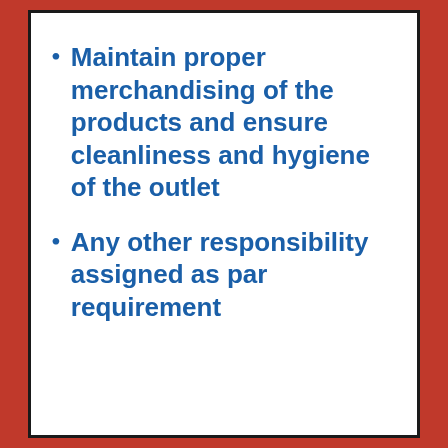Maintain proper merchandising of the products and ensure cleanliness and hygiene of the outlet
Any other responsibility assigned as par requirement